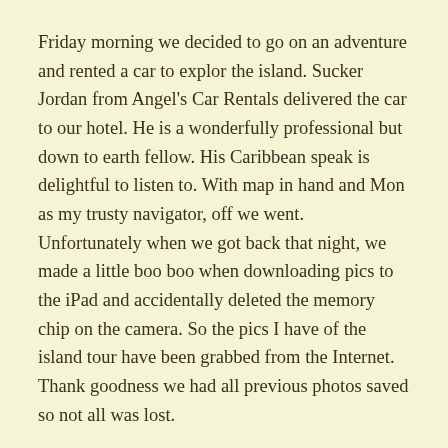Friday morning we decided to go on an adventure and rented a car to explor the island. Sucker Jordan from Angel's Car Rentals delivered the car to our hotel. He is a wonderfully professional but down to earth fellow. His Caribbean speak is delightful to listen to. With map in hand and Mon as my trusty navigator, off we went. Unfortunately when we got back that night, we made a little boo boo when downloading pics to the iPad and accidentally deleted the memory chip on the camera. So the pics I have of the island tour have been grabbed from the Internet. Thank goodness we had all previous photos saved so not all was lost.